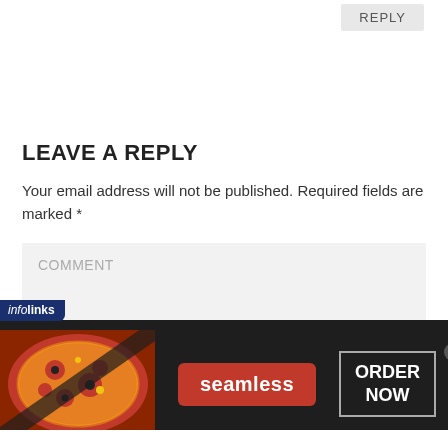REPLY
LEAVE A REPLY
Your email address will not be published. Required fields are marked *
COMMENT
[Figure (screenshot): Infolinks advertisement banner for Seamless food ordering with pizza image, Seamless logo button in red, and ORDER NOW button in white on dark background]